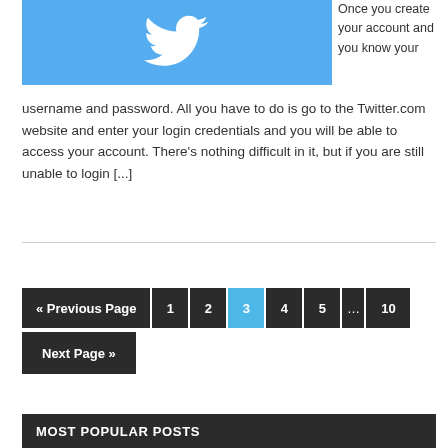[Figure (illustration): Twitter bird logo on blue background]
Once you create your account and you know your username and password. All you have to do is go to the Twitter.com website and enter your login credentials and you will be able to access your account. There's nothing difficult in it, but if you are still unable to login [...]
« Previous Page  1  2  3  4  5 … 10
Next Page »
MOST POPULAR POSTS